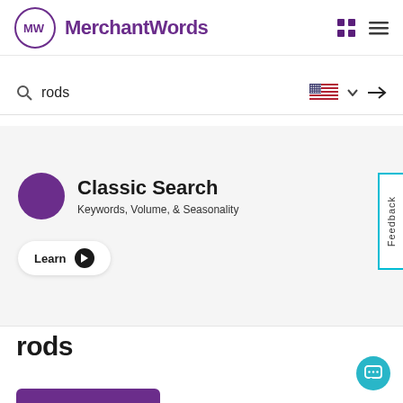MerchantWords
rods
Classic Search
Keywords, Volume, & Seasonality
Learn
Feedback
rods